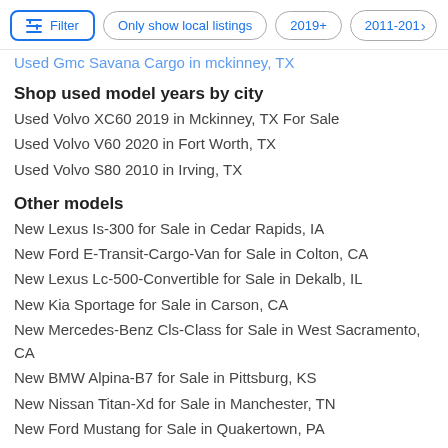Filter | Only show local listings | 2019+ | 2011-201>
Used Gmc Savana Cargo in mckinney, TX
Shop used model years by city
Used Volvo XC60 2019 in Mckinney, TX For Sale
Used Volvo V60 2020 in Fort Worth, TX
Used Volvo S80 2010 in Irving, TX
Other models
New Lexus Is-300 for Sale in Cedar Rapids, IA
New Ford E-Transit-Cargo-Van for Sale in Colton, CA
New Lexus Lc-500-Convertible for Sale in Dekalb, IL
New Kia Sportage for Sale in Carson, CA
New Mercedes-Benz Cls-Class for Sale in West Sacramento, CA
New BMW Alpina-B7 for Sale in Pittsburg, KS
New Nissan Titan-Xd for Sale in Manchester, TN
New Ford Mustang for Sale in Quakertown, PA
New GMC Yukon for Sale in Mill Valley, CA